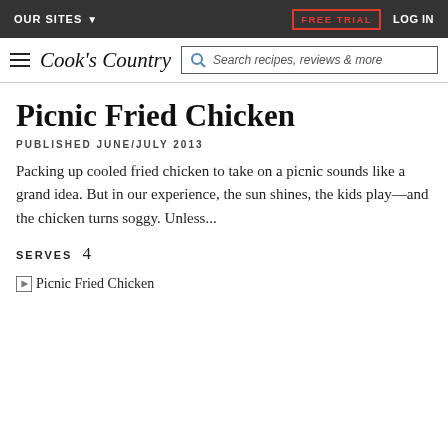OUR SITES ▾   FREE TRIAL   LOG IN
Cook's Country — Search recipes, reviews & more
Picnic Fried Chicken
PUBLISHED JUNE/JULY 2013
Packing up cooled fried chicken to take on a picnic sounds like a grand idea. But in our experience, the sun shines, the kids play—and the chicken turns soggy. Unless...
SERVES 4
[Figure (photo): Picnic Fried Chicken image placeholder]